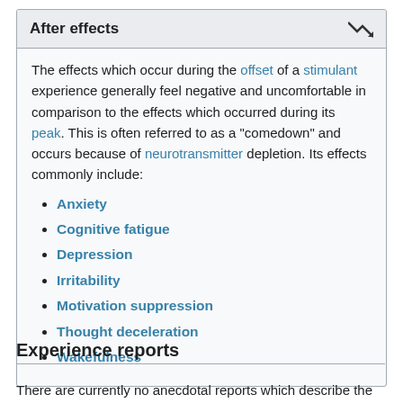After effects
The effects which occur during the offset of a stimulant experience generally feel negative and uncomfortable in comparison to the effects which occurred during its peak. This is often referred to as a "comedown" and occurs because of neurotransmitter depletion. Its effects commonly include:
Anxiety
Cognitive fatigue
Depression
Irritability
Motivation suppression
Thought deceleration
Wakefulness
Experience reports
There are currently no anecdotal reports which describe the